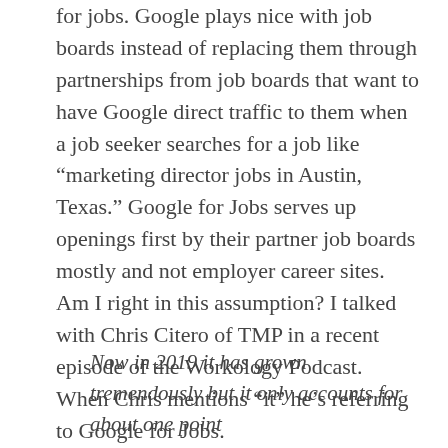for jobs. Google plays nice with job boards instead of replacing them through partnerships from job boards that want to have Google direct traffic to them when a job seeker searches for a job like “marketing director jobs in Austin, Texas.” Google for Jobs serves up openings first by their partner job boards mostly and not employer career sites. Am I right in this assumption? I talked with Chris Citero of TMP in a recent episode of the Workology Podcast. When Chris mentions “it” he’s referring to Google for Jobs.
Now in 2019 it has grown tremendously but it only accounts for about one point